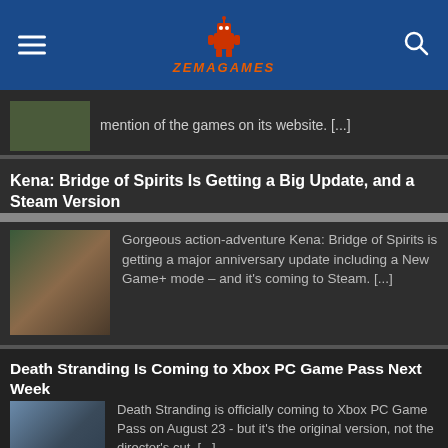ZEMAGAMES
mention of the games on its website. [...]
Kena: Bridge of Spirits Is Getting a Big Update, and a Steam Version
Gorgeous action-adventure Kena: Bridge of Spirits is getting a major anniversary update including a New Game+ mode – and it's coming to Steam. [...]
Death Stranding Is Coming to Xbox PC Game Pass Next Week
Death Stranding is officially coming to Xbox PC Game Pass on August 23 - but it's the original version, not the director's cut. [...]